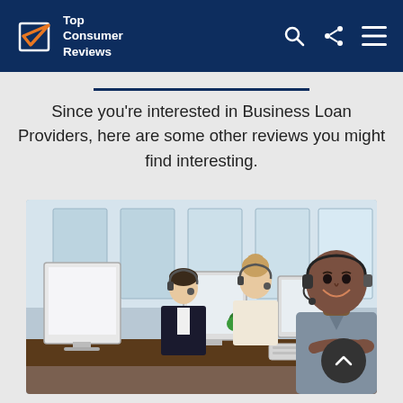Top Consumer Reviews
Since you're interested in Business Loan Providers, here are some other reviews you might find interesting.
[Figure (photo): Three call center workers sitting at computers with headsets in a modern office. A smiling Black man in a grey shirt is in the foreground looking at the camera, with a woman and man in the background also working.]